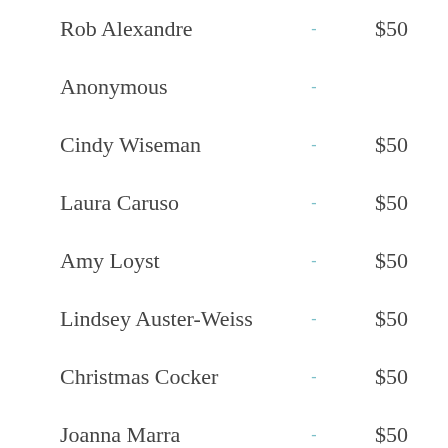Rob Alexandre — $50
Anonymous —
Cindy Wiseman — $50
Laura Caruso — $50
Amy Loyst — $50
Lindsey Auster-Weiss — $50
Christmas Cocker — $50
Joanna Marra — $50
Nadia and Brian Ahrens — $50
Sonica — $50
Tara Petry — $50